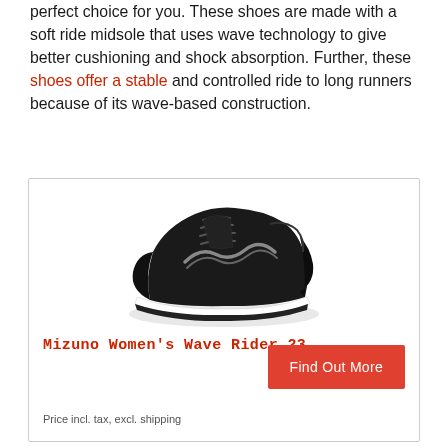perfect choice for you. These shoes are made with a soft ride midsole that uses wave technology to give better cushioning and shock absorption. Further, these shoes offer a stable and controlled ride to long runners because of its wave-based construction.
[Figure (photo): Black Mizuno Women's Wave Rider 23 running shoe, side view showing knit upper and white wave sole]
Mizuno Women's Wave Rider 23...
Find Out More
Price incl. tax, excl. shipping